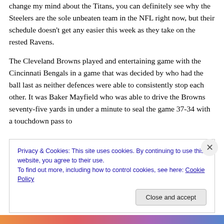change my mind about the Titans, you can definitely see why the Steelers are the sole unbeaten team in the NFL right now, but their schedule doesn't get any easier this week as they take on the rested Ravens.
The Cleveland Browns played and entertaining game with the Cincinnati Bengals in a game that was decided by who had the ball last as neither defences were able to consistently stop each other. It was Baker Mayfield who was able to drive the Browns seventy-five yards in under a minute to seal the game 37-34 with a touchdown pass to
Privacy & Cookies: This site uses cookies. By continuing to use this website, you agree to their use.
To find out more, including how to control cookies, see here: Cookie Policy
Close and accept